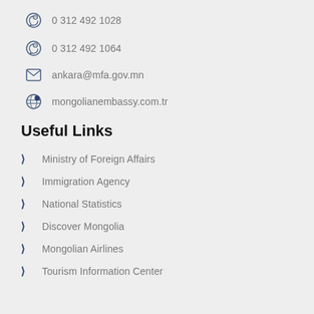0 312 492 1028
0 312 492 1064
ankara@mfa.gov.mn
mongolianembassy.com.tr
Useful Links
Ministry of Foreign Affairs
Immigration Agency
National Statistics
Discover Mongolia
Mongolian Airlines
Tourism Information Center